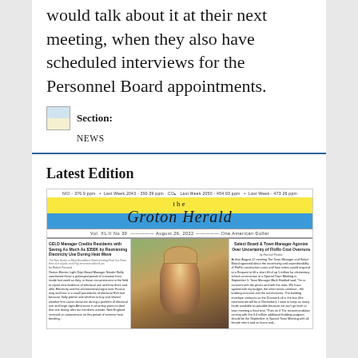would talk about it at their next meeting, when they also have scheduled interviews for the Personnel Board appointments.
Section:
NEWS
Latest Edition
[Figure (illustration): Newspaper front page mockup of the Groton Herald, Vol. XL(II) No 39, August 26, 2022, One American Dollar. Headlines include 'GELD Manager Credits Residents with Saving As Much As $350K by Restraining Electricity Use During Heat Wave' and 'Select Board & Town Manager Agonize Over Uncertainty of FloRo Cost Overruns'. Center photo shows a person with a hat playing violin outdoors.]